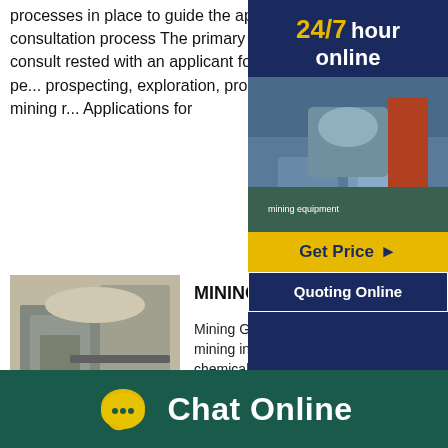processes in place to guide the application and consultation process The primary duty to consult rested with an applicant for a mining pe... prospecting, exploration, production or mining r... Applications for
[Figure (screenshot): Sidebar advertisement: 24/7 hour online with mining equipment image, Get Price button, Quoting Online button]
[Figure (photo): Industrial mining facility interior with machinery]
MINING SNF South Africa
Mining Globally, SNF is a worl... the mining industry, providing s... chemicals and services for min... processing and metallurgical applications SNF S... Africa works hand in hand with SNF CHEMQUE... CHEMQUEST has been involved in the mining
[Figure (photo): Mining site exterior with rock face]
How to apply for a Mining Permit in South Africa as
The following is required to apply for a
[Figure (infographic): Chat Online bar at bottom with speech bubble icon]